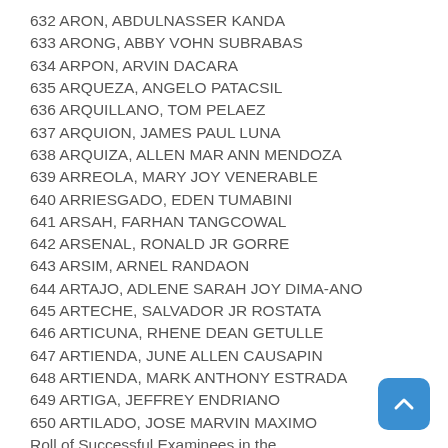632 ARON, ABDULNASSER KANDA
633 ARONG, ABBY VOHN SUBRABAS
634 ARPON, ARVIN DACARA
635 ARQUEZA, ANGELO PATACSIL
636 ARQUILLANO, TOM PELAEZ
637 ARQUION, JAMES PAUL LUNA
638 ARQUIZA, ALLEN MAR ANN MENDOZA
639 ARREOLA, MARY JOY VENERABLE
640 ARRIESGADO, EDEN TUMABINI
641 ARSAH, FARHAN TANGCOWAL
642 ARSENAL, RONALD JR GORRE
643 ARSIM, ARNEL RANDAON
644 ARTAJO, ADLENE SARAH JOY DIMA-ANO
645 ARTECHE, SALVADOR JR ROSTATA
646 ARTICUNA, RHENE DEAN GETULLE
647 ARTIENDA, JUNE ALLEN CAUSAPIN
648 ARTIENDA, MARK ANTHONY ESTRADA
649 ARTIGA, JEFFREY ENDRIANO
650 ARTILADO, JOSE MARVIN MAXIMO
Roll of Successful Examinees in the CRIMINOLOGIST LICENSURE EXAMINATION - All Regions